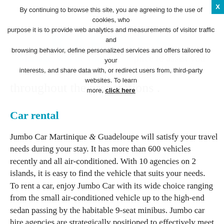By continuing to browse this site, you are agreeing to the use of cookies, whose purpose it is to provide web analytics and measurements of visitor traffic and browsing behavior, define personalized services and offers tailored to your interests, and share data with, or redirect users from, third-party websites. To learn more, click here
Mariage, will be your accomplice to assist you throughout the preparations .
Car rental
Jumbo Car Martinique & Guadeloupe will satisfy your travel needs during your stay. It has more than 600 vehicles recently and all air-conditioned. With 10 agencies on 2 islands, it is easy to find the vehicle that suits your needs. To rent a car, enjoy Jumbo Car with its wide choice ranging from the small air-conditioned vehicle up to the high-end sedan passing by the habitable 9-seat minibus. Jumbo car hire agencies are strategically positioned to effectively meet your need for proximity when you want